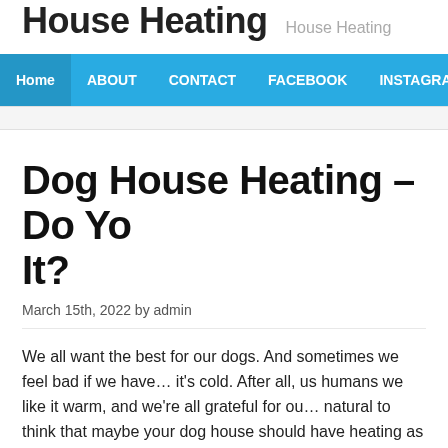House Heating   House Heating
Home  ABOUT  CONTACT  FACEBOOK  INSTAGRAM  PRIVACY POL…
Dog House Heating – Do Yo… It?
March 15th, 2022 by admin
We all want the best for our dogs. And sometimes we feel bad if we have… it's cold. After all, us humans we like it warm, and we're all grateful for ou… natural to think that maybe your dog house should have heating as well.
But don't get out the credit card just yet. I've seen it happen many times –… heating for their dog house, only to find that the dog would rather sit outsi…